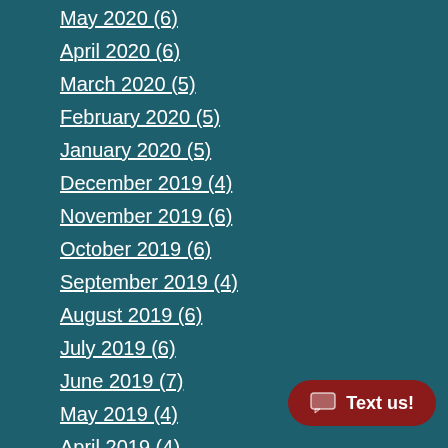May 2020 (6)
April 2020 (6)
March 2020 (5)
February 2020 (5)
January 2020 (5)
December 2019 (4)
November 2019 (6)
October 2019 (6)
September 2019 (4)
August 2019 (6)
July 2019 (6)
June 2019 (7)
May 2019 (4)
April 2019 (4)
March 2019 (4)